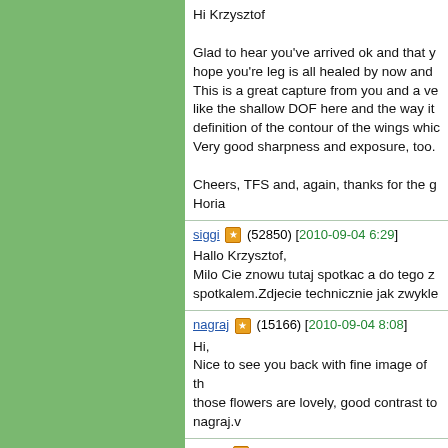Hi Krzysztof

Glad to hear you've arrived ok and that y... hope you're leg is all healed by now and ... This is a great capture from you and a ve... like the shallow DOF here and the way it ... definition of the contour of the wings whic... Very good sharpness and exposure, too.

Cheers, TFS and, again, thanks for the g... Horia
siggi (52850) [2010-09-04 6:29]
Hallo Krzysztof,
Milo Cie znowu tutaj spotkac a do tego z... spotkalem.Zdjecie technicznie jak zwykle...
nagraj (15166) [2010-09-04 8:08]
Hi,
Nice to see you back with fine image of th... those flowers are lovely, good contrast to... nagraj.v
Argus (50626) [2010-09-04 8:15]
Hello Krzysztof,
Though this Neptis species is a little worn... wings open. The sharpness and natural d... The composition might have been better... matter of opinion!